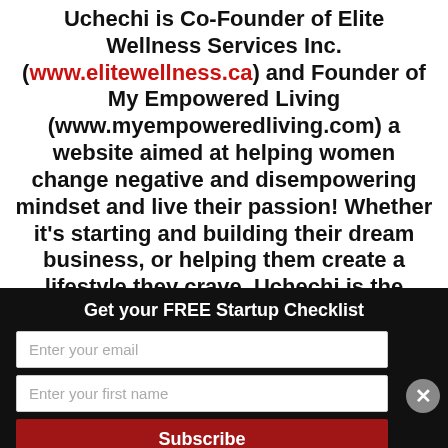Uchechi is Co-Founder of Elite Wellness Services Inc. (www.elitewellness.ca) and Founder of My Empowered Living (www.myempoweredliving.com) a website aimed at helping women change negative and disempowering mindset and live their passion! Whether it's starting and building their dream business, or helping them create a lifestyle they crave, Uchechi is the modern woman's secret to success! Visit Uchechi
Get your FREE Startup Checklist
[Figure (other): Email signup form with two input fields (Enter your email, Enter your first name) and a Subscribe button on a black background, with a close (X) button on the right]